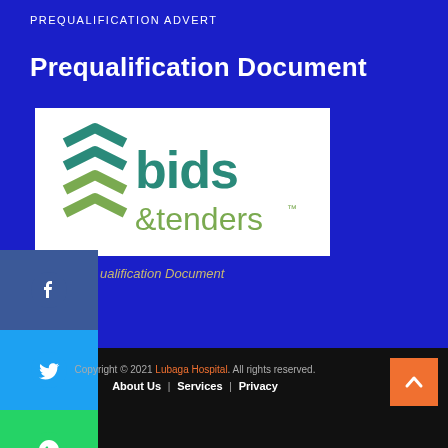PREQUALIFICATION ADVERT
Prequalification Document
[Figure (logo): Bids & Tenders logo: teal chevron arrows on left, 'bids' in teal bold text, '&tenders' in olive/green text with TM mark]
ualification Document
Copyright © 2021 Lubaga Hospital. All rights reserved. | About Us | Services | Privacy